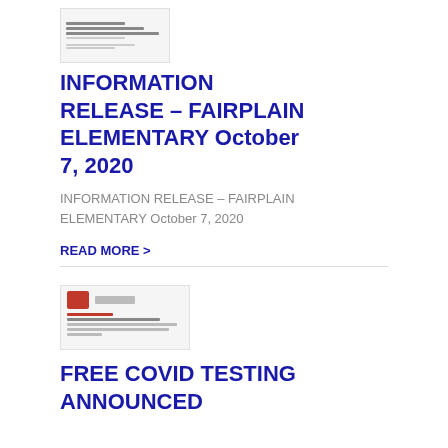[Figure (screenshot): Thumbnail of a document page with small text lines]
INFORMATION RELEASE – FAIRPLAIN ELEMENTARY October 7, 2020
INFORMATION RELEASE – FAIRPLAIN ELEMENTARY October 7, 2020
READ MORE >
[Figure (screenshot): Thumbnail of a document page with logo and text lines]
FREE COVID TESTING ANNOUNCED